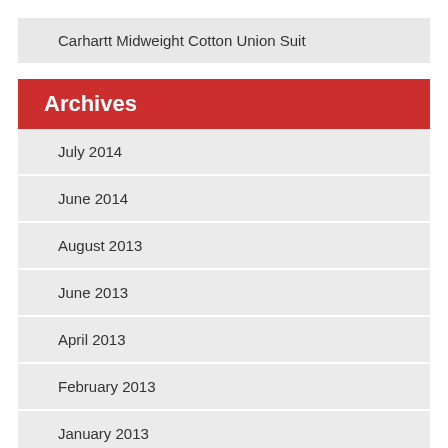Carhartt Midweight Cotton Union Suit
Archives
July 2014
June 2014
August 2013
June 2013
April 2013
February 2013
January 2013